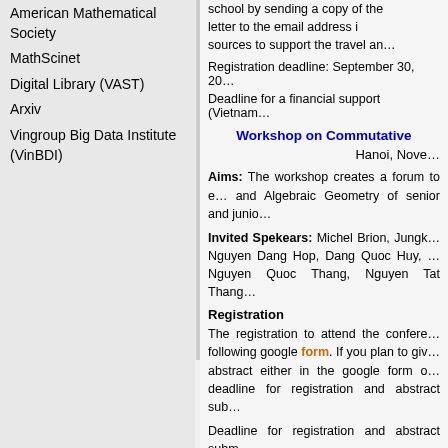American Mathematical Society
MathScinet
Digital Library (VAST)
Arxiv
Vingroup Big Data Institute (VinBDI)
school by sending a copy of the letter to the email address i… sources to support the travel an…
Registration deadline: September 30, 20…
Deadline for a financial support (Vietnam…
Workshop on Commutative
Hanoi, Nove…
Aims: The workshop creates a forum to e… and Algebraic Geometry of senior and junio…
Invited Spekears: Michel Brion, Jungk… Nguyen Dang Hop, Dang Quoc Huy, … Nguyen Quoc Thang, Nguyen Tat Thang…
Registration
The registration to attend the confere… following google form. If you plan to giv… abstract either in the google form o… deadline for registration and abstract sub…
Deadline for registration and abstract subm…